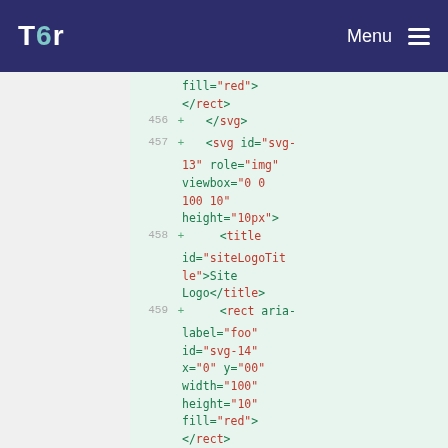Tor Menu
fill="red">
</rect>
456 + </svg>
457 + <svg id="svg-13" role="img" viewbox="0 0 100 10" height="10px">
458 + <title id="siteLogoTitle">Site Logo</title>
459 + <rect aria-label="foo" id="svg-14" x="0" y="00" width="100" height="10" fill="red">
</rect>